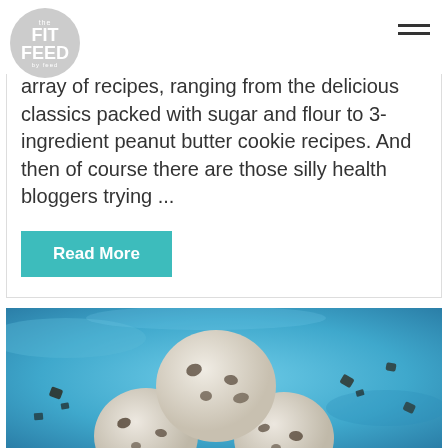the FIT FEED by feed
array of recipes, ranging from the delicious classics packed with sugar and flour to 3-ingredient peanut butter cookie recipes. And then of course there are those silly health bloggers trying ...
Read More
[Figure (photo): Photo of stacked cookie dough balls on a blue background with dark chocolate chip pieces scattered around]